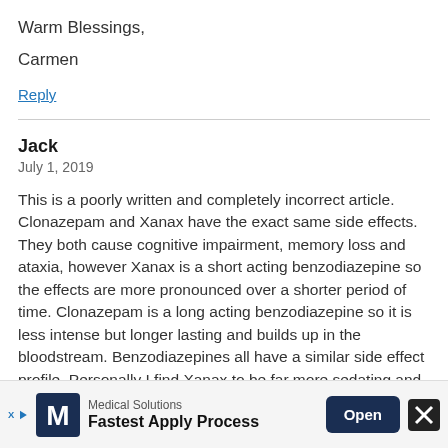Warm Blessings,
Carmen
Reply
Jack
July 1, 2019
This is a poorly written and completely incorrect article. Clonazepam and Xanax have the exact same side effects. They both cause cognitive impairment, memory loss and ataxia, however Xanax is a short acting benzodiazepine so the effects are more pronounced over a shorter period of time. Clonazepam is a long acting benzodiazepine so it is less intense but longer lasting and builds up in the bloodstream. Benzodiazepines all have a similar side effect profile. Personally I find Xanax to be far more sedating and memory impairing than clonazepam.
[Figure (infographic): Medical Solutions advertisement banner with logo, 'Fastest Apply Process' tagline, and Open button]